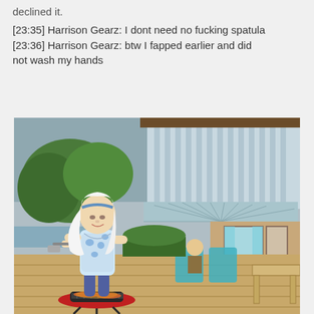declined it.
[23:35] Harrison Gearz: I dont need no fucking spatula
[23:36] Harrison Gearz: btw I fapped earlier and did not wash my hands
[Figure (screenshot): Screenshot from a virtual world (Second Life-style game) showing a female avatar with white hair and blue floral top standing at a red BBQ grill on a wooden patio deck. Background shows tropical trees, overcast sky, and a modern house structure with large windows and wooden elements. Other avatars are seated in teal chairs in the background.]